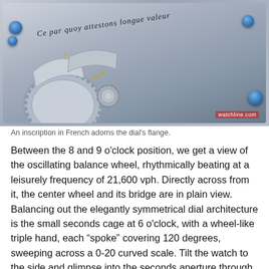[Figure (photo): Close-up photograph of a watch movement/dial showing intricate gears, a cursive French inscription along the flange reading 'Ce par quoy attestons longue valeur', blue screws, gold star symbols, and gear mechanisms. Watermark reads 'watchline.com'.]
An inscription in French adorns the dial's flange.
Between the 8 and 9 o'clock position, we get a view of the oscillating balance wheel, rhythmically beating at a leisurely frequency of 21,600 vph. Directly across from it, the center wheel and its bridge are in plain view. Balancing out the elegantly symmetrical dial architecture is the small seconds cage at 6 o'clock, with a wheel-like triple hand, each “spoke” covering 120 degrees, sweeping across a 0-20 curved scale. Tilt the watch to the side and glimpse into the seconds aperture through a loupe, and you’ll see this watch’s patented technical marvel — its co-axial seconds display with reverse hand-fitting, which allows the seconds to continuously run